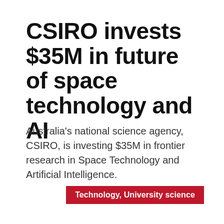CSIRO invests $35M in future of space technology and AI
Australia's national science agency, CSIRO, is investing $35M in frontier research in Space Technology and Artificial Intelligence.
Technology, University science